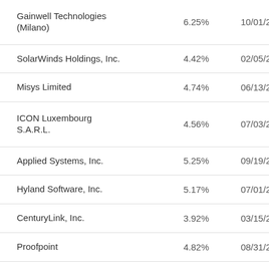| Company | Rate | Date |
| --- | --- | --- |
| Gainwell Technologies (Milano) | 6.25% | 10/01/2027 |
| SolarWinds Holdings, Inc. | 4.42% | 02/05/2024 |
| Misys Limited | 4.74% | 06/13/2024 |
| ICON Luxembourg S.A.R.L. | 4.56% | 07/03/2028 |
| Applied Systems, Inc. | 5.25% | 09/19/2024 |
| Hyland Software, Inc. | 5.17% | 07/01/2024 |
| CenturyLink, Inc. | 3.92% | 03/15/2027 |
| Proofpoint | 4.82% | 08/31/2028 |
| Select Medical Corporation | 4.17% | 03/06/2025 |